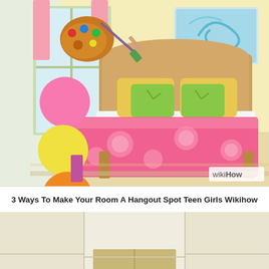[Figure (illustration): WikiHow illustration of a girl's bedroom with a bed covered in a pink floral comforter with green pillows, a wooden headboard, a window with pink curtains, a colorful artwork on the wall, and color swatches (paint palette, pink circle, yellow circle, orange circle) on the left side.]
3 Ways To Make Your Room A Hangout Spot Teen Girls Wikihow
[Figure (illustration): WikiHow illustration showing the bottom portion of a room corner with white walls and a beige/tan floor mat or platform in the center.]